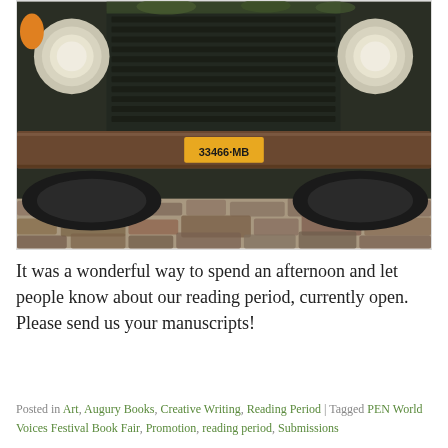[Figure (photo): Close-up front view of an old dark green/black vintage truck or bus with a yellow license plate reading '33466-MB', parked on cobblestone street. The vehicle shows a heavy grille, two round headlights, and moss or paint weathering. The foreground shows cobblestone pavement.]
It was a wonderful way to spend an afternoon and let people know about our reading period, currently open. Please send us your manuscripts!
Posted in Art, Augury Books, Creative Writing, Reading Period | Tagged PEN World Voices Festival Book Fair, Promotion, reading period, Submissions